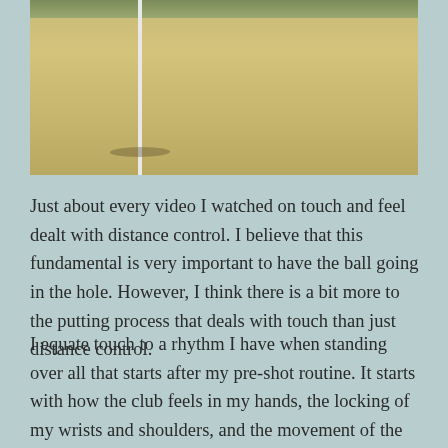[Figure (photo): Photograph of a golf green with a flag pole and sandy/grass surface]
Just about every video I watched on touch and feel dealt with distance control. I believe that this fundamental is very important to have the ball going in the hole. However, I think there is a bit more to the putting process that deals with touch than just distance control.
I equate touch to a rhythm I have when standing over all that starts after my pre-shot routine. It starts with how the club feels in my hands, the locking of my wrists and shoulders, and the movement of the club head. There is a sort of balance I feel when all is going well from the start and finish of my putting stroke. I am not struggling